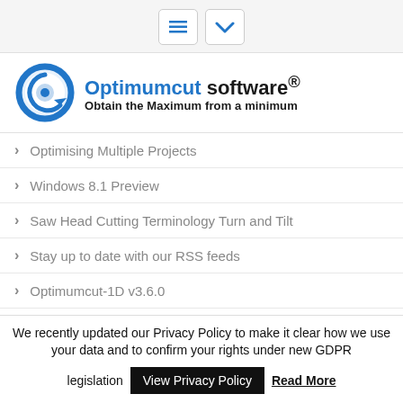[Figure (logo): Optimumcut software logo with circular icon and tagline 'Obtain the Maximum from a minimum']
Optimising Multiple Projects
Windows 8.1 Preview
Saw Head Cutting Terminology Turn and Tilt
Stay up to date with our RSS feeds
Optimumcut-1D v3.6.0
One project, one window
Excel Import Wizard
We recently updated our Privacy Policy to make it clear how we use your data and to confirm your rights under new GDPR legislation  View Privacy Policy  Read More